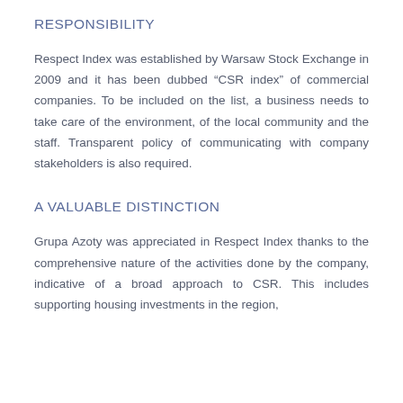RESPONSIBILITY
Respect Index was established by Warsaw Stock Exchange in 2009 and it has been dubbed “CSR index” of commercial companies. To be included on the list, a business needs to take care of the environment, of the local community and the staff. Transparent policy of communicating with company stakeholders is also required.
A VALUABLE DISTINCTION
Grupa Azoty was appreciated in Respect Index thanks to the comprehensive nature of the activities done by the company, indicative of a broad approach to CSR. This includes supporting housing investments in the region,